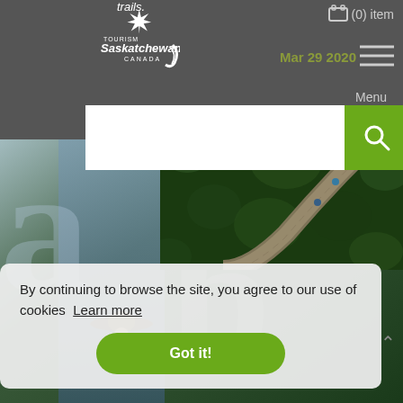trails.
[Figure (logo): Tourism Saskatchewan Canada logo with white maple leaf and text]
(0) item
Mar 29 2020
Menu
[Figure (screenshot): Search bar with green search button]
[Figure (photo): Aerial view of a curved wooden boardwalk through trees, and a person with a wide-brimmed hat in a field]
By continuing to browse the site, you agree to our use of cookies  Learn more
Got it!